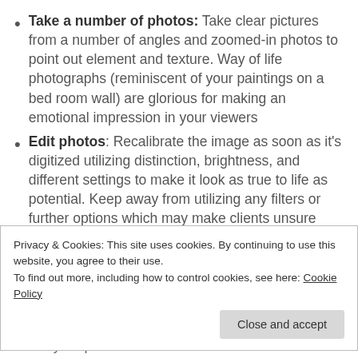Take a number of photos: Take clear pictures from a number of angles and zoomed-in photos to point out element and texture. Way of life photographs (reminiscent of your paintings on a bed room wall) are glorious for making an emotional impression in your viewers
Edit photos: Recalibrate the image as soon as it's digitized utilizing distinction, brightness, and different settings to make it look as true to life as potential. Keep away from utilizing any filters or further options which may make clients unsure
Privacy & Cookies: This site uses cookies. By continuing to use this website, you agree to their use. To find out more, including how to control cookies, see here: Cookie Policy
Close and accept
out of your piece.